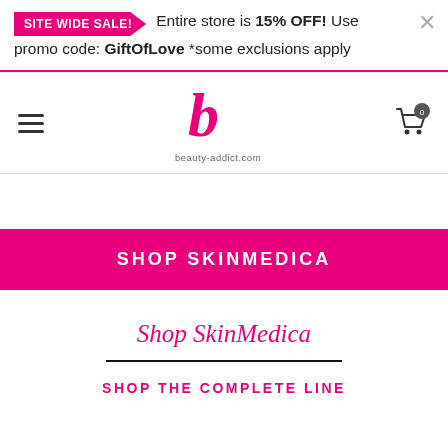SITE WIDE SALE! Entire store is 15% OFF! Use promo code: GiftOfLove *some exclusions apply
[Figure (logo): beauty-addict.com logo with stylized pink 'b' letter and website URL]
SHOP SKINMEDICA
Shop SkinMedica
SHOP THE COMPLETE LINE